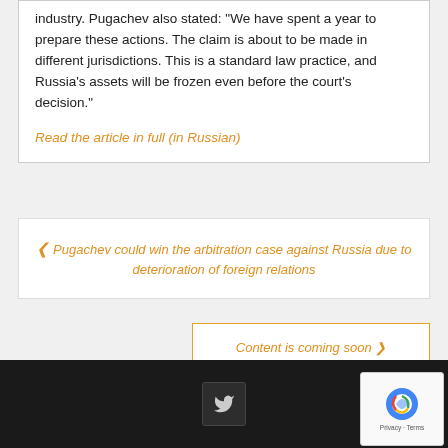industry. Pugachev also stated: "We have spent a year to prepare these actions. The claim is about to be made in different jurisdictions. This is a standard law practice, and Russia's assets will be frozen even before the court's decision."
Read the article in full (in Russian)
‹ Pugachev could win the arbitration case against Russia due to deterioration of foreign relations
Content is coming soon ›
Twitter icon | Privacy · Terms